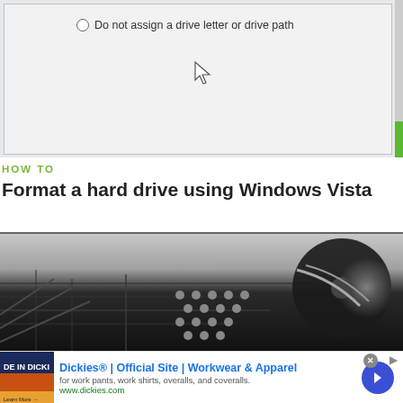[Figure (screenshot): Windows Vista dialog showing radio option 'Do not assign a drive letter or drive path' with cursor arrow visible]
HOW TO
Format a hard drive using Windows Vista
[Figure (photo): Close-up black and white photo of a hard drive circuit board showing dots/pins and circular disk platter edge]
[Figure (screenshot): Advertisement: Dickies® | Official Site | Workwear & Apparel - for work pants, work shirts, overalls, and coveralls. www.dickies.com]